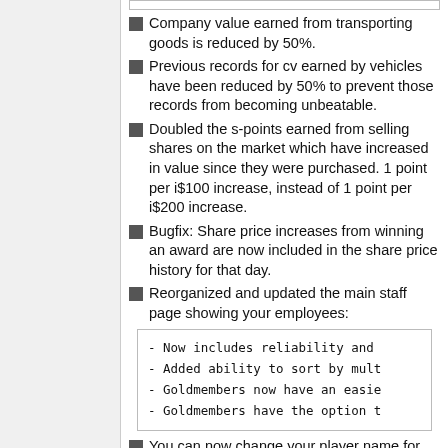Company value earned from transporting goods is reduced by 50%.
Previous records for cv earned by vehicles have been reduced by 50% to prevent those records from becoming unbeatable.
Doubled the s-points earned from selling shares on the market which have increased in value since they were purchased. 1 point per i$100 increase, instead of 1 point per i$200 increase.
Bugfix: Share price increases from winning an award are now included in the share price history for that day.
Reorganized and updated the main staff page showing your employees:
- Now includes reliability and
- Added ability to sort by mult
- Goldmembers now have an easie
- Goldmembers have the option t
You can now change your player name for FREE during the week before a new round